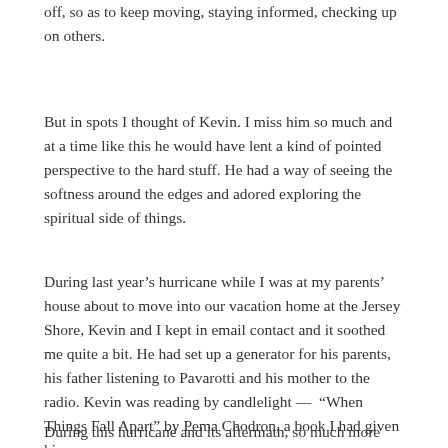off, so as to keep moving, staying informed, checking up on others.
But in spots I thought of Kevin. I miss him so much and at a time like this he would have lent a kind of pointed perspective to the hard stuff. He had a way of seeing the softness around the edges and adored exploring the spiritual side of things.
During last year's hurricane while I was at my parents' house about to move into our vacation home at the Jersey Shore, Kevin and I kept in email contact and it soothed me quite a bit. He had set up a generator for his parents, his father listening to Pavarotti and his mother to the radio. Kevin was reading by candlelight —  “When Things Fall Apart” by Pema Chodron, a book I had given him.
During this hurricane and its aftermath, so much more intense and damaging, I keep wondering why